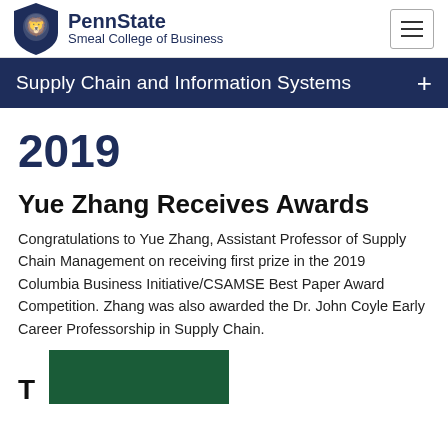[Figure (logo): Penn State Smeal College of Business logo with lion head shield and text]
Supply Chain and Information Systems
2019
Yue Zhang Receives Awards
Congratulations to Yue Zhang, Assistant Professor of Supply Chain Management on receiving first prize in the 2019 Columbia Business Initiative/CSAMSE Best Paper Award Competition. Zhang was also awarded the Dr. John Coyle Early Career Professorship in Supply Chain.